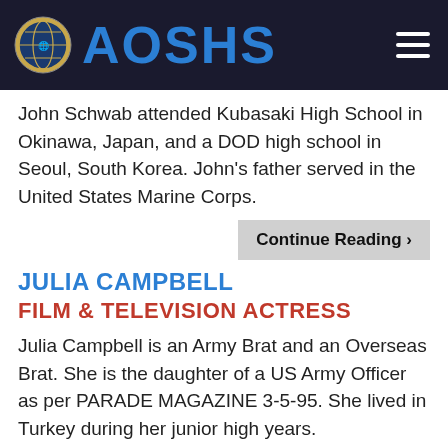AOSHS
John Schwab attended Kubasaki High School in Okinawa, Japan, and a DOD high school in Seoul, South Korea. John's father served in the United States Marine Corps.
Continue Reading >
JULIA CAMPBELL
FILM & TELEVISION ACTRESS
Julia Campbell is an Army Brat and an Overseas Brat. She is the daughter of a US Army Officer as per PARADE MAGAZINE 3-5-95. She lived in Turkey during her junior high years.
Movies: “Opportunity Knocks” and “Livin’ Large”;